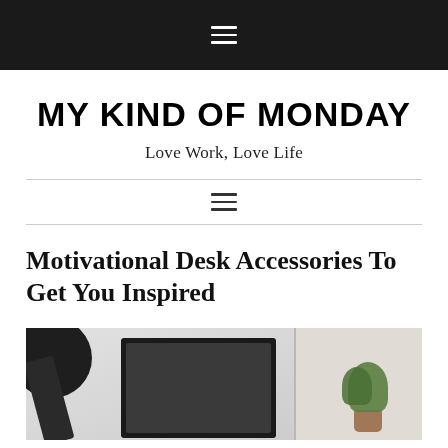≡
MY KIND OF MONDAY
Love Work, Love Life
≡
Motivational Desk Accessories To Get You Inspired
[Figure (photo): A desk setup with a dark monitor, lamp, and potted plants on a light background]